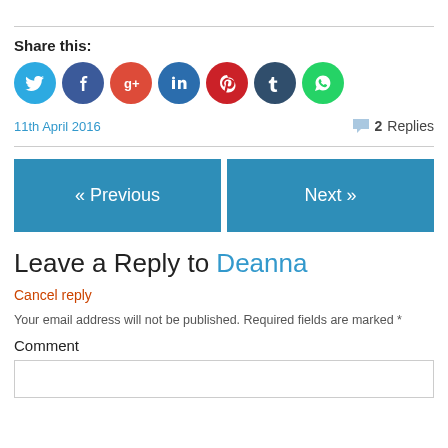Share this:
[Figure (illustration): Row of circular social media share buttons: Twitter (blue), Facebook (dark blue), Google+ (red), LinkedIn (dark blue), Pinterest (red), Tumblr (dark navy), WhatsApp (green)]
11th April 2016
2 Replies
« Previous
Next »
Leave a Reply to Deanna
Cancel reply
Your email address will not be published. Required fields are marked *
Comment